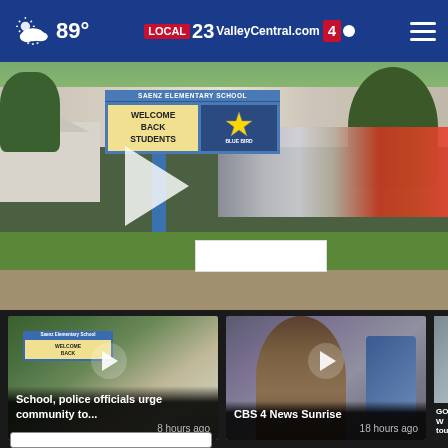89° ValleyCentral.com 23 4
[Figure (screenshot): Exterior photo of Saenz Elementary School with 'Welcome Back Students' marquee sign, parked cars in lot, trees, and residential buildings in background. Large play button overlay visible.]
[Figure (screenshot): Thumbnail of school exterior video with play button. Caption: School, police officials urge community to... 8 hours ago]
School, police officials urge community to...
8 hours ago
[Figure (screenshot): Thumbnail of CBS 4 News Sunrise video with play button. Caption: CBS 4 News Sunrise 18 hours ago]
CBS 4 News Sunrise
18 hours ago
[Figure (screenshot): Partially visible thumbnail of GOP W... tour video card]